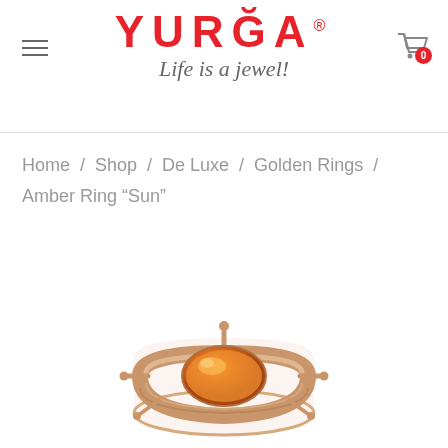YURGA — Life is a jewel!
Home / Shop / De Luxe / Golden Rings / Amber Ring “Sun”
[Figure (photo): Close-up photo of a rose gold amber ring called 'Sun', featuring an orange/amber oval stone set in a decorative rose gold band with sun-ray prong details, photographed from slightly above on a white background.]